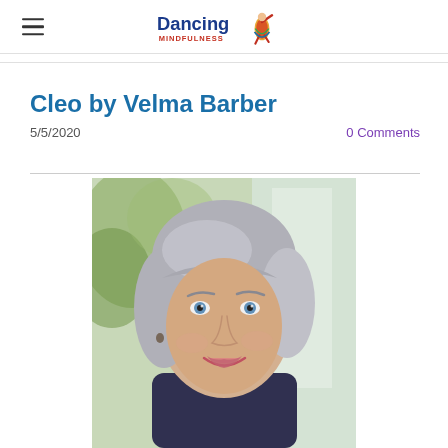Dancing Mindfulness
Cleo by Velma Barber
5/5/2020
0 Comments
[Figure (photo): Portrait photograph of a middle-aged woman with silver-grey bob hairstyle, blue eyes, smiling, wearing a dark top, with a blurred outdoor background]